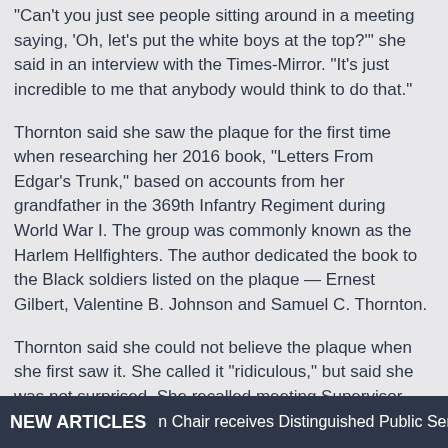“Can’t you just see people sitting around in a meeting saying, ‘Oh, let’s put the white boys at the top?’” she said in an interview with the Times-Mirror. “It’s just incredible to me that anybody would think to do that.”
Thornton said she saw the plaque for the first time when researching her 2016 book, “Letters From Edgar’s Trunk,” based on accounts from her grandfather in the 369th Infantry Regiment during World War I. The group was commonly known as the Harlem Hellfighters. The author dedicated the book to the Black soldiers listed on the plaque — Ernest Gilbert, Valentine B. Johnson and Samuel C. Thornton.
Thornton said she could not believe the plaque when she first saw it. She called it “ridiculous,” but said she was not surprised. She recalled meeting Supervisor Turner at an event, and she shared her issues with the monument.
NEW ARTICLES  n Chair receives Distinguished Public Service A